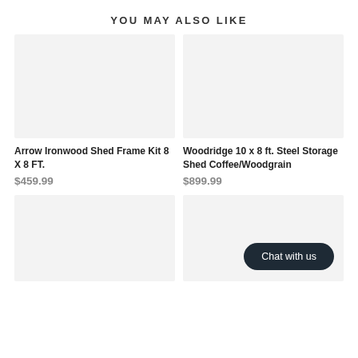YOU MAY ALSO LIKE
[Figure (photo): Product image placeholder for Arrow Ironwood Shed Frame Kit]
[Figure (photo): Product image placeholder for Woodridge 10 x 8 ft. Steel Storage Shed]
Arrow Ironwood Shed Frame Kit 8 X 8 FT.
$459.99
Woodridge 10 x 8 ft. Steel Storage Shed Coffee/Woodgrain
$899.99
[Figure (photo): Product image placeholder bottom left]
[Figure (photo): Product image placeholder bottom right with Chat with us button]